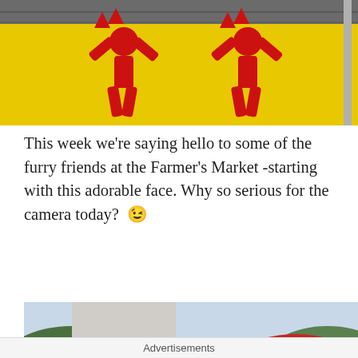[Figure (photo): Yellow sign with red human figure arrows pointing upward, shot from below on a street]
This week we're saying hello to some of the furry friends at the Farmer's Market -starting with this adorable face. Why so serious for the camera today? 😉
[Figure (photo): A dog's head seen from above at a farmer's market, person in jeans bending over it, red umbrella and market stalls in background]
Privacy & Cookies: This site uses cookies. By continuing to use this website, you agree to their use.
To find out more, including how to control cookies, see here: Cookie Policy
Close and accept
Advertisements